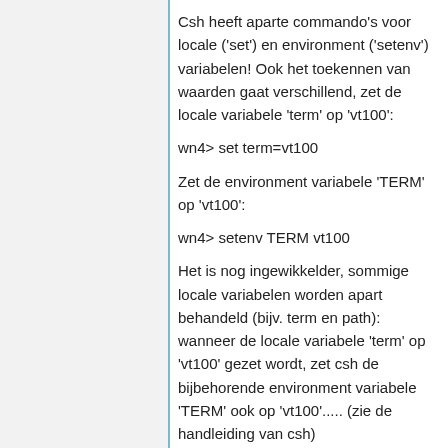Csh heeft aparte commando's voor locale ('set') en environment ('setenv') variabelen! Ook het toekennen van waarden gaat verschillend, zet de locale variabele 'term' op 'vt100':
wn4> set term=vt100
Zet de environment variabele 'TERM' op 'vt100':
wn4> setenv TERM vt100
Het is nog ingewikkelder, sommige locale variabelen worden apart behandeld (bijv. term en path): wanneer de locale variabele 'term' op 'vt100' gezet wordt, zet csh de bijbehorende environment variabele 'TERM' ook op 'vt100'..... (zie de handleiding van csh)
Enkele opmerkingen:
- Het commando 'printenv' geeft